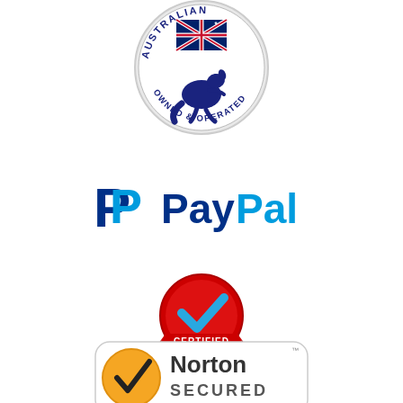[Figure (logo): Australian Owned and Operated logo with kangaroo holding Australian flag inside a circular badge]
[Figure (logo): PayPal logo with blue P symbol and PayPal text in dark and light blue]
[Figure (logo): Secure Customer Reviews Certified badge - red circular seal with blue checkmark and red ribbon banner reading CERTIFIED, with text CERTIFIED REVIEWS below]
[Figure (logo): Norton Secured logo with yellow checkmark circle and Norton Secured text in rounded rectangle]